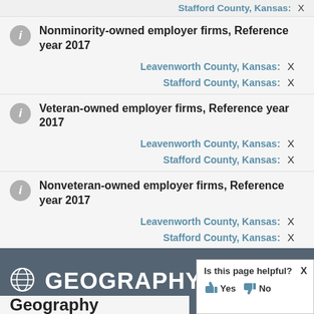Stafford County, Kansas: X
Nonminority-owned employer firms, Reference year 2017
Leavenworth County, Kansas: X
Stafford County, Kansas: X
Veteran-owned employer firms, Reference year 2017
Leavenworth County, Kansas: X
Stafford County, Kansas: X
Nonveteran-owned employer firms, Reference year 2017
Leavenworth County, Kansas: X
Stafford County, Kansas: X
GEOGRAPHY
Is this page helpful? Yes No
Geography